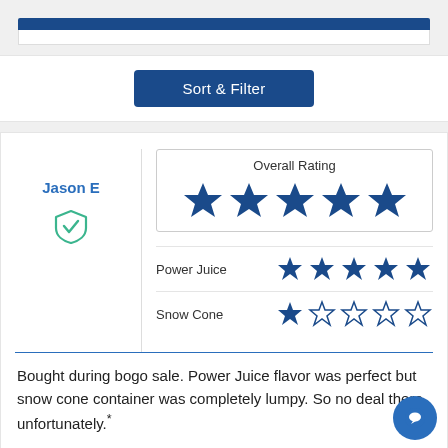[Figure (screenshot): Sort & Filter button in dark blue]
Jason E
[Figure (other): Verified purchase shield icon with checkmark]
Overall Rating
[Figure (other): 5 out of 5 stars for Overall Rating]
Power Juice
[Figure (other): 5 out of 5 stars for Power Juice]
Snow Cone
[Figure (other): 1 out of 5 stars for Snow Cone]
Bought during bogo sale. Power Juice flavor was perfect but snow cone container was completely lumpy. So no deal there, unfortunately.*